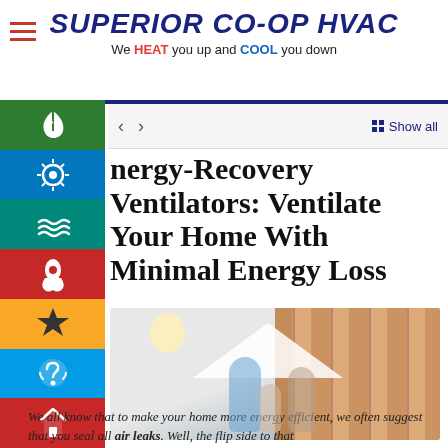SUPERIOR CO-OP HVAC — We HEAT you up and COOL you down
Energy-Recovery Ventilators: Ventilate Your Home With Minimal Energy Loss
[Figure (photo): Happy family of three (father, mother, young daughter) sitting together under a paper house roof shape, smiling, with wood-paneled wall in background]
We all know that to make your home more energy efficient, we often suggest that you seal all air leaks. Well, the flip side to that